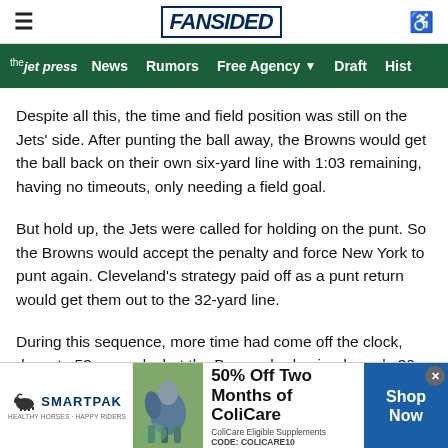FANSIDED
the jet press  News  Rumors  Free Agency  Draft  Hist
Despite all this, the time and field position was still on the Jets' side. After punting the ball away, the Browns would get the ball back on their own six-yard line with 1:03 remaining, having no timeouts, only needing a field goal.
But hold up, the Jets were called for holding on the punt. So the Browns would accept the penalty and force New York to punt again. Cleveland's strategy paid off as a punt return would get them out to the 32-yard line.
During this sequence, more time had come off the clock, down to 53 seconds, but the Browns had gained nearly 30 extra yards, setting themselves up with a shorter field to get into field goal range.
[Figure (other): SmartPak advertisement banner: 50% Off Two Months of ColiCare, ColiCare Eligible Supplements, CODE: COLICARE10, with Shop Now button and horse image]